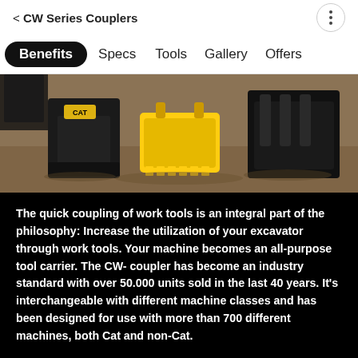< CW Series Couplers
Benefits   Specs   Tools   Gallery   Offers
[Figure (photo): Photo showing multiple Cat excavator work tools on a dirt ground, including a compactor plate on the left, a yellow bucket in the center, and a hydraulic attachment on the right.]
The quick coupling of work tools is an integral part of the philosophy: Increase the utilization of your excavator through work tools. Your machine becomes an all-purpose tool carrier. The CW- coupler has become an industry standard with over 50.000 units sold in the last 40 years. It's interchangeable with different machine classes and has been designed for use with more than 700 different machines, both Cat and non-Cat.